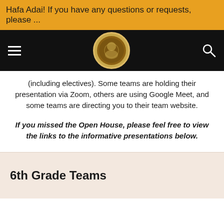Hafa Adai! If you have any questions or requests, please ...
[Figure (logo): School logo circular emblem on black navigation bar with hamburger menu icon on left and search icon on right]
(including electives). Some teams are holding their presentation via Zoom, others are using Google Meet, and some teams are directing you to their team website.
If you missed the Open House, please feel free to view the links to the informative presentations below.
6th Grade Teams